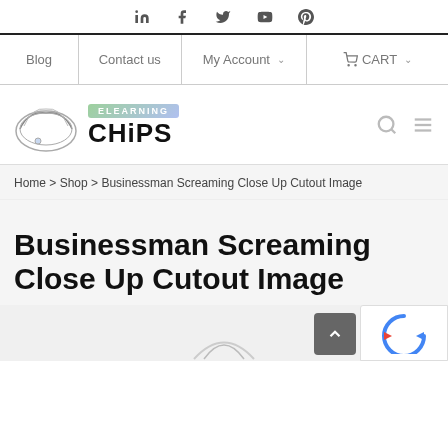Social icons: LinkedIn, Facebook, Twitter, YouTube, Pinterest
Blog | Contact us | My Account | CART
[Figure (logo): eLearning CHiPS logo with chip/scroll illustration and gradient ELEARNING badge]
Home > Shop > Businessman Screaming Close Up Cutout Image
Businessman Screaming Close Up Cutout Image
[Figure (photo): Partial product image visible at bottom of page]